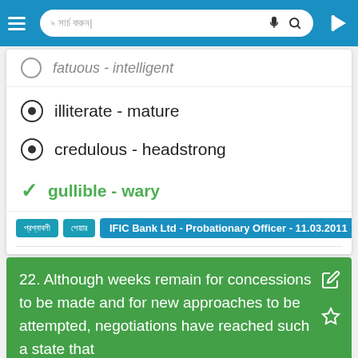Navigation bar with search, microphone, and login
fatuous - intelligent (partially visible, cut off at top)
illiterate - mature
credulous - headstrong
gullible - wary (correct answer, highlighted in green)
IFIC Bank Ltd - Probationary Officer - 11.03.2011
22. Although weeks remain for concessions to be made and for new approaches to be attempted, negotiations have reached such a state that